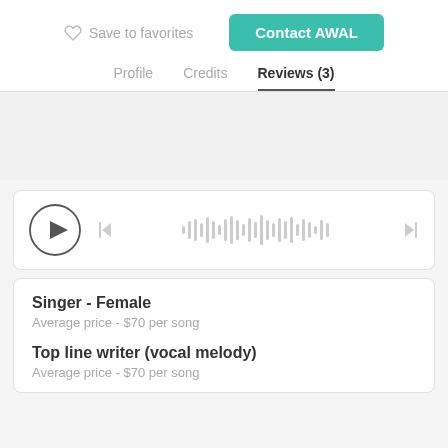Save to favorites
Contact AWAL
Profile
Credits
Reviews (3)
[Figure (other): Audio player with play button circle, skip back icon, waveform visualization, skip forward icon]
Singer - Female
Average price - $70 per song
Top line writer (vocal melody)
Average price - $70 per song